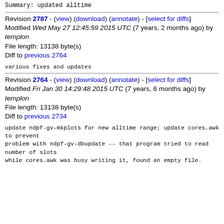Summary: updated alltime
Revision 2787 - (view) (download) (annotate) - [select for diffs]
Modified Wed May 27 12:45:59 2015 UTC (7 years, 2 months ago) by templon
File length: 13138 byte(s)
Diff to previous 2764
various fixes and updates
Revision 2764 - (view) (download) (annotate) - [select for diffs]
Modified Fri Jan 30 14:29:48 2015 UTC (7 years, 6 months ago) by templon
File length: 13138 byte(s)
Diff to previous 2734
update ndpf-gv-mkplots for new alltime range; update cores.awk to prevent
problem with ndpf-gv-dbupdate -- that program tried to read number of slots
while cores.awk was busy writing it, found an empty file.